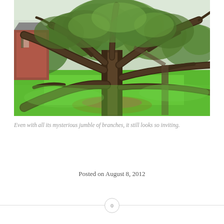[Figure (photo): Photograph of a large old oak tree with massive twisted branches spreading wide, surrounded by green lawn. A brick building is partially visible on the left side.]
Even with all its mysterious jumble of branches, it still looks so inviting.
Posted on August 8, 2012
0